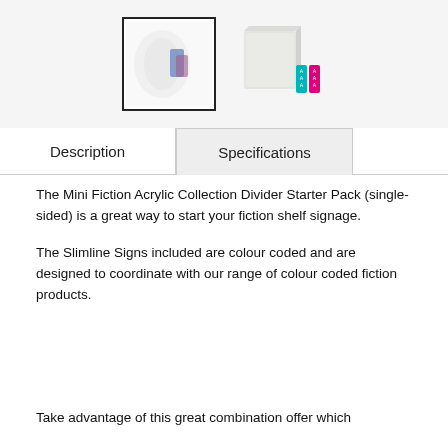[Figure (photo): Two product images: left shows a blurred acrylic collection divider with coloured labels (selected, with dark border); right shows an acrylic panel leaning with two small colour-coded slimline signs in cyan and magenta.]
Description
Specifications
The Mini Fiction Acrylic Collection Divider Starter Pack (single-sided) is a great way to start your fiction shelf signage.
The Slimline Signs included are colour coded and are designed to coordinate with our range of colour coded fiction products.
Take advantage of this great combination offer which